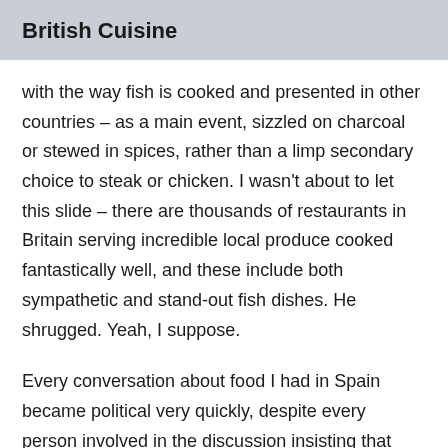British Cuisine
with the way fish is cooked and presented in other countries – as a main event, sizzled on charcoal or stewed in spices, rather than a limp secondary choice to steak or chicken. I wasn't about to let this slide – there are thousands of restaurants in Britain serving incredible local produce cooked fantastically well, and these include both sympathetic and stand-out fish dishes. He shrugged. Yeah, I suppose.
Every conversation about food I had in Spain became political very quickly, despite every person involved in the discussion insisting that politics wouldn't be discussed. Disagreements are accepted as readily as agreements, all arguments among friends are classed as conversation. It's hard as an uptight Englishwoman not to feel